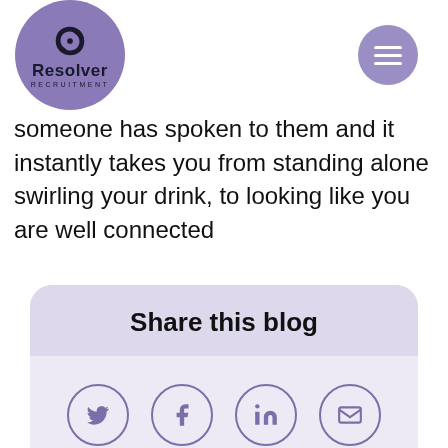[Figure (logo): Resolver Recruitment logo: purple circle with a stylized cross/chain icon and text 'Resolver RECRUITMENT']
[Figure (other): Purple circle hamburger menu icon with three white horizontal bars]
someone has spoken to them and it instantly takes you from standing alone swirling your drink, to looking like you are well connected
[Figure (infographic): Share this blog box with social media icons: Twitter, Facebook, LinkedIn, Email]
Share this blog